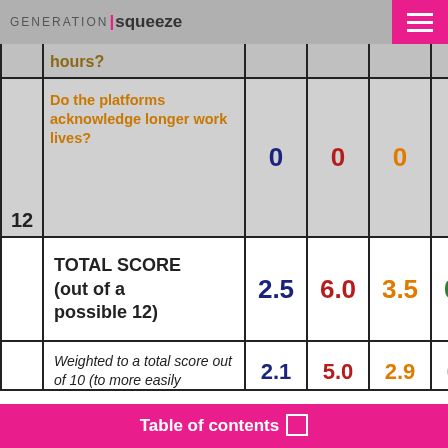GENERATION | squeeze
| # | Question | Score1 | Score2 | Score3 | Score4 |
| --- | --- | --- | --- | --- | --- |
|  | flexible work hours? |  |  |  |  |
| 12 | Do the platforms acknowledge longer work lives? | 0 | 0 | 0 | 0 |
|  | TOTAL SCORE (out of a possible 12) | 2.5 | 6.0 | 3.5 | 0.5 |
|  | Weighted to a total score out of 10 (to more easily... | 2.1 | 5.0 | 2.9 | 0.4 |
Table of contents